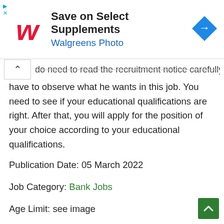[Figure (other): Walgreens advertisement banner: 'Save on Select Supplements — Walgreens Photo' with Walgreens logo and navigation icon]
do need to read the recruitment notice carefully. You have to observe what he wants in this job. You need to see if your educational qualifications are right. After that, you will apply for the position of your choice according to your educational qualifications.
Publication Date: 05 March 2022
Job Category: Bank Jobs
Age Limit: see image
Application Last Date: 31 March 2022